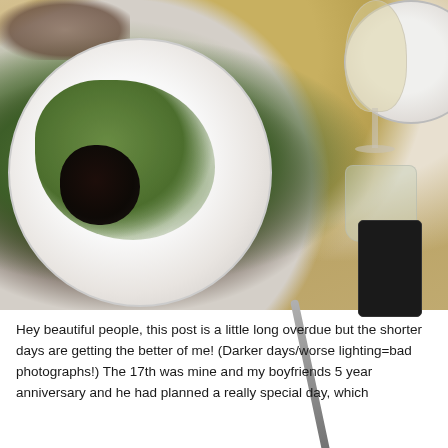[Figure (photo): Overhead photo of a restaurant table with a white ridged plate containing a salad of arugula and a dark piece of meat/food item, a tall wine glass with white wine, a short tumbler glass, a knife, a black card/phone, and a partial white plate in the upper right corner with food.]
Hey beautiful people, this post is a little long overdue but the shorter days are getting the better of me! (Darker days/worse lighting=bad photographs!) The 17th was mine and my boyfriends 5 year anniversary and he had planned a really special day, which